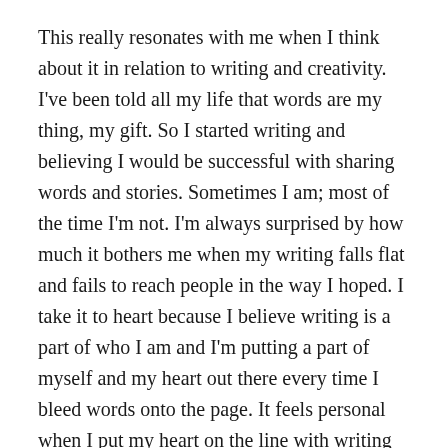This really resonates with me when I think about it in relation to writing and creativity. I've been told all my life that words are my thing, my gift. So I started writing and believing I would be successful with sharing words and stories. Sometimes I am; most of the time I'm not. I'm always surprised by how much it bothers me when my writing falls flat and fails to reach people in the way I hoped. I take it to heart because I believe writing is a part of who I am and I'm putting a part of myself and my heart out there every time I bleed words onto the page. It feels personal when I put my heart on the line with writing and people hand it right back to me. It makes me question who I am and what {if anything} I'm really good at if this isn't it.
I'm not saying any of this so you will feel sorry for me and because I'm telling you it too early...